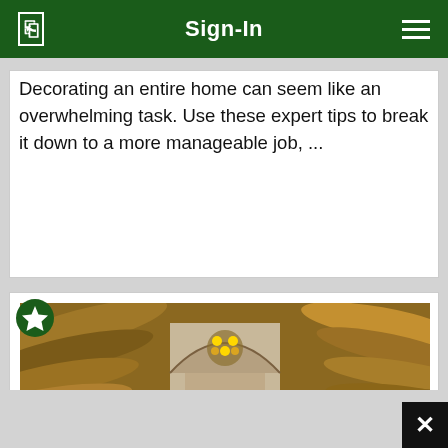Sign-In
Decorating an entire home can seem like an overwhelming task. Use these expert tips to break it down to a more manageable job, ...
[Figure (photo): Interior of a log cabin showing wooden log beams, a stone archway, and a chandelier with yellow lights, photographed from below looking upward.]